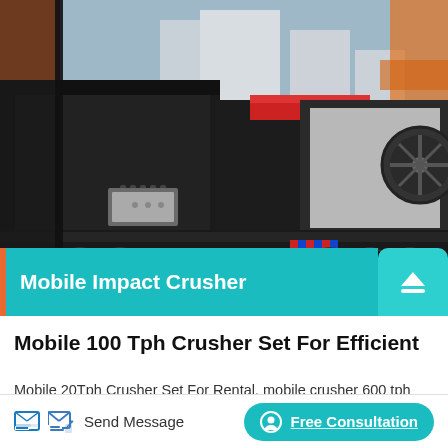[Figure (photo): Large mobile impact crusher machine on a flatbed trailer in an industrial yard, with buildings visible in the background. The machine is predominantly black with some white and red components.]
Mobile Impact Crusher
Mobile 100 Tph Crusher Set For Efficient
Mobile 20Tph Crusher Set For Rental. mobile crusher 600 tph SZM SG Creations. Apr 8, 2018 Hammer Crusher Pcf,mobile crusher 600